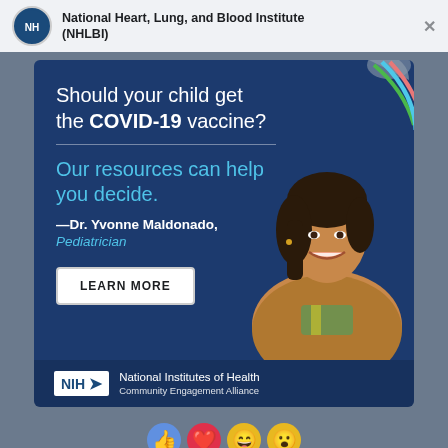National Heart, Lung, and Blood Institute (NHLBI)
[Figure (infographic): COVID-19 vaccine information ad from NIH/NHLBI featuring Dr. Yvonne Maldonado, Pediatrician. Dark blue background with headline 'Should your child get the COVID-19 vaccine?', subtext 'Our resources can help you decide.', quote attribution '—Dr. Yvonne Maldonado, Pediatrician', a LEARN MORE button, photo of a smiling woman, NIH Community Engagement Alliance logo, and decorative colored arcs in top-right corner.]
—Dr. Yvonne Maldonado, Pediatrician
Learn More